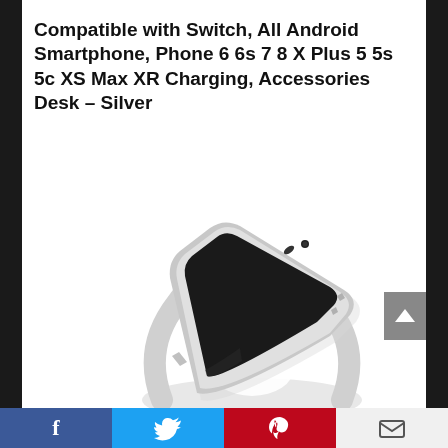Compatible with Switch, All Android Smartphone, Phone 6 6s 7 8 X Plus 5 5s 5c XS Max XR Charging, Accessories Desk – Silver
[Figure (photo): A silver smartphone propped at an angle on a white minimalist desk stand, photographed on a white background. The phone is a white/silver iPhone-style device with a dark screen.]